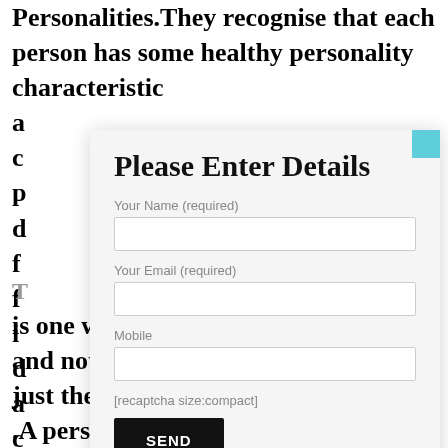Personalities.They recognise that each person has some healthy personality characteristic
[Figure (screenshot): Modal dialog overlay with title 'Please Enter Details', form fields for Your Name (required), Your Email (required), Mobile, a recaptcha placeholder, and a SEND button. A teal close button is in the top-right corner.]
is one who possesses positive qualities and not just the absence of negative qualities .A person